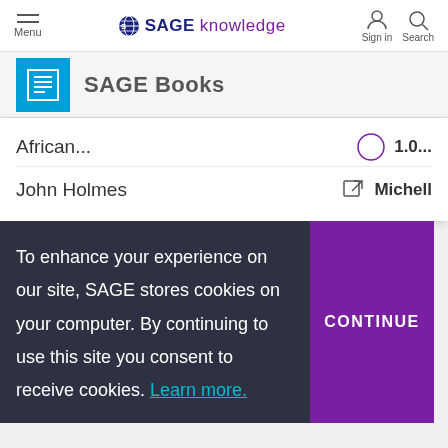SAGE knowledge — Menu / Sign in / Search navigation bar
SAGE Books
African... John Holmes
To enhance your experience on our site, SAGE stores cookies on your computer. By continuing to use this site you consent to receive cookies. Learn more.
CONTINUE